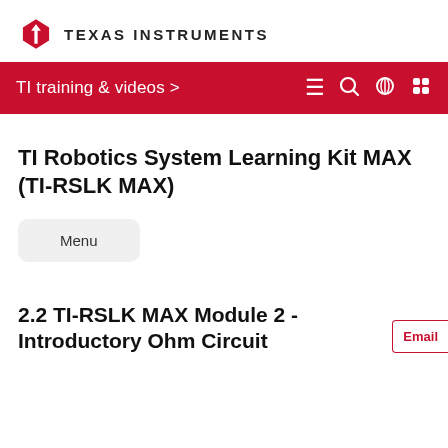[Figure (logo): Texas Instruments logo with red TI icon and 'TEXAS INSTRUMENTS' text]
TI training & videos >
TI Robotics System Learning Kit MAX (TI-RSLK MAX)
Menu
2.2 TI-RSLK MAX Module 2 - Introductory Ohm Circuit